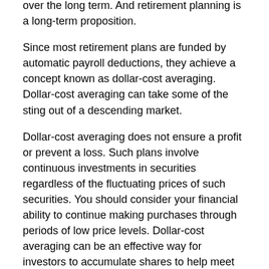over the long term. And retirement planning is a long-term proposition.
Since most retirement plans are funded by automatic payroll deductions, they achieve a concept known as dollar-cost averaging. Dollar-cost averaging can take some of the sting out of a descending market.
Dollar-cost averaging does not ensure a profit or prevent a loss. Such plans involve continuous investments in securities regardless of the fluctuating prices of such securities. You should consider your financial ability to continue making purchases through periods of low price levels. Dollar-cost averaging can be an effective way for investors to accumulate shares to help meet long-term goals.
Diversify
Diversification is a basic principle of investing. Spreading your holdings among several different investments (stocks, bonds, etc.) can help you manage potential losses.